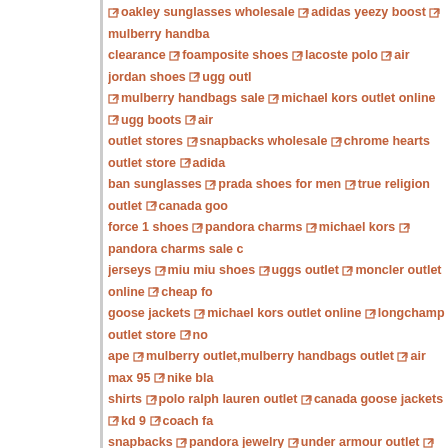oakley sunglasses wholesale adidas yeezy boost mulberry handbags clearance foamposite shoes lacoste polo air jordan shoes ugg outlet mulberry handbags sale michael kors outlet online ugg boots air outlet stores snapbacks wholesale chrome hearts outlet store adidas ban sunglasses prada shoes for men true religion outlet canada goose force 1 shoes pandora charms michael kors pandora charms sale c jerseys miu miu shoes uggs outlet moncler outlet online cheap fo goose jackets michael kors outlet online longchamp outlet store no ape mulberry outlet,mulberry handbags outlet air max 95 nike bla shirts polo ralph lauren outlet canada goose jackets kd 9 coach fa snapbacks pandora jewelry under armour outlet canada goose jac online ray ban sunglasses outlet brequet wathes cheap jordans for burberry outlet online jordan shoes uggs outlet michael kors hand mont blanc outlet kate spade outlet online moncler coats north fac clearance prada outlet online 10 deep clothing g-star jeans ed ha jackets cleveland cavaliers jerseys ugg boots clearance nike factory shoes jordan 12 ecco outlet polo ralph lauren shirts fitflops shoes ralph lauren outlet christian louboutin shoes jordan 32 gucci outle outlet online kyrie 4 ray ban sunglasses outlet cheap basketball sh jewelry cheap nba jerseys ugg boots on sale bottega veneta outlet c ugg outlet ralph lauren outlet gucci outlet online true religion je